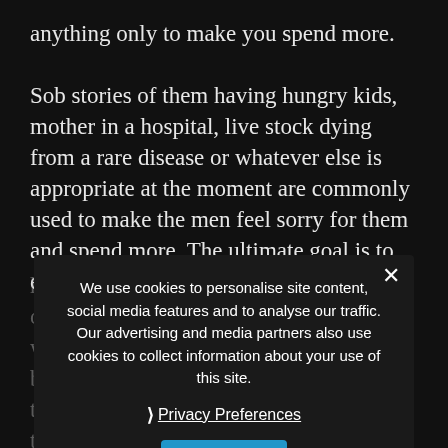anything only to make you spend more.
Sob stories of them having hungry kids, mother in a hospital, live stock dying from a rare disease or whatever else is appropriate at the moment are commonly used to make the men feel sorry for them and spend more. The ultimate goal is to enchant the man so much,
he would commit to helping this poor girl out any way he can. The beautiful man who come to thailand are hard working business people who think about their trips back home but continue supporting their new found girlfriend with money to thailand from their home country.
We use cookies to personalise site content, social media features and to analyse our traffic. Our advertising and media partners also use cookies to collect information about your use of this site.
❯ Privacy Preferences
I Agree